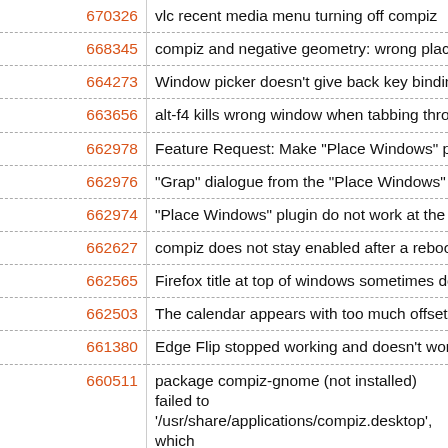| ID | Description |
| --- | --- |
| 670326 | vlc recent media menu turning off compiz |
| 668345 | compiz and negative geometry: wrong placement |
| 664273 | Window picker doesn't give back key binding |
| 663656 | alt-f4 kills wrong window when tabbing through |
| 662978 | Feature Request: Make "Place Windows" plugin t |
| 662976 | "Grap" dialogue from the "Place Windows" plugi |
| 662974 | "Place Windows" plugin do not work at the start |
| 662627 | compiz does not stay enabled after a reboot |
| 662565 | Firefox title at top of windows sometimes does n |
| 662503 | The calendar appears with too much offset abov |
| 661380 | Edge Flip stopped working and doesn't work wh |
| 660511 | package compiz-gnome (not installed) failed to
'/usr/share/applications/compiz.desktop', which |
| 660226 | Weird black object appears above, around, or in |
| 659813 | Windows get stuck to panels with visual effects |
| 659141 | all windows are startin only in maximized mode |
| 658636 | title in title bars sometimes refreshes only if the |
| 657627 | Crash on adding second monitor with gnome-dis |
| 656460 | Compiz & Clearlooks |